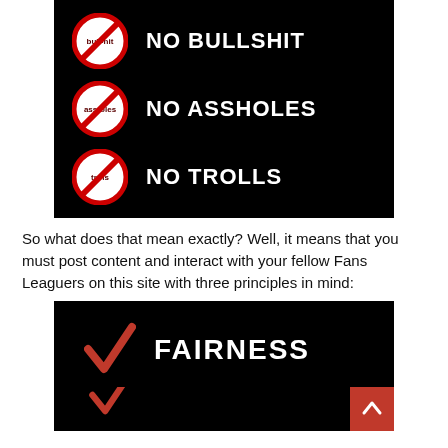[Figure (illustration): Black background image with three no-sign (prohibition circle with diagonal slash) icons in red, each with text: 'bullshit' crossed out with NO BULLSHIT, 'assholes' crossed out with NO ASSHOLES, 'trolls' crossed out with NO TROLLS]
So what does that mean exactly? Well, it means that you must post content and interact with your fellow Fans Leaguers on this site with three principles in mind:
[Figure (illustration): Black background image with a red checkmark and the word FAIRNESS in white bold text, and a partial second checkmark visible at bottom]